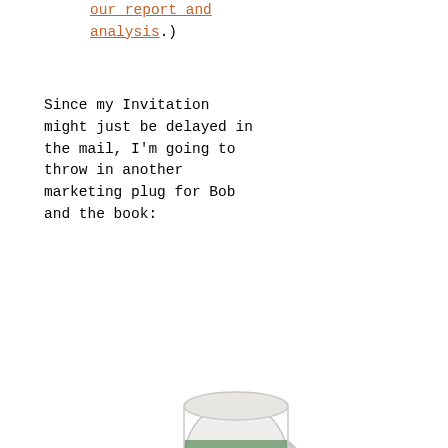our report and analysis.)
Since my Invitation might just be delayed in the mail, I'm going to throw in another marketing plug for Bob and the book:
[Figure (photo): A mug with History of the Snowman imagery on it, circular ceramic mug with illustrated figures wrapped around it.]
.. .. History of the Snowman Mugs are now available from the website, and can be purchased at his book tour events for $10.
If you live near Schenectady, come and join my combination